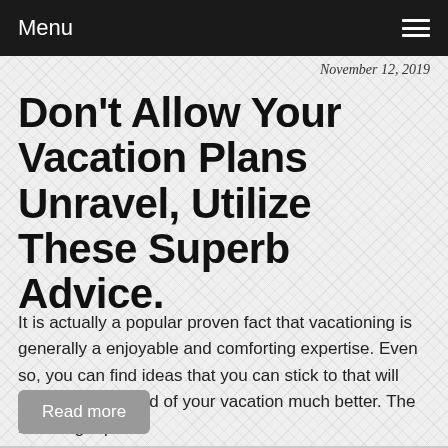Menu
November 12, 2019
Don't Allow Your Vacation Plans Unravel, Utilize These Superb Advice.
It is actually a popular proven fact that vacationing is generally a enjoyable and comforting expertise. Even so, you can find ideas that you can stick to that will make the standard of your vacation much better. The following repo...
Read more